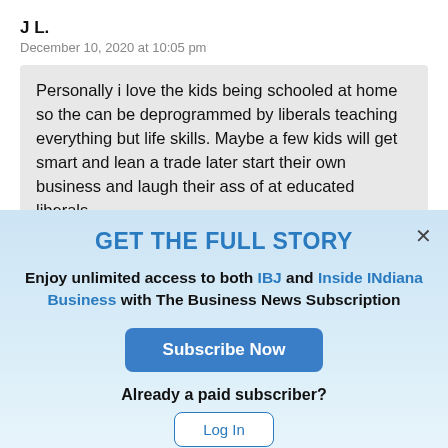J L.
December 10, 2020 at 10:05 pm
Personally i love the kids being schooled at home so the can be deprogrammed by liberals teaching everything but life skills. Maybe a few kids will get smart and lean a trade later start their own business and laugh their ass of at educated liberals.
GET THE FULL STORY
Enjoy unlimited access to both IBJ and Inside INdiana Business with The Business News Subscription
Subscribe Now
Already a paid subscriber?
Log In